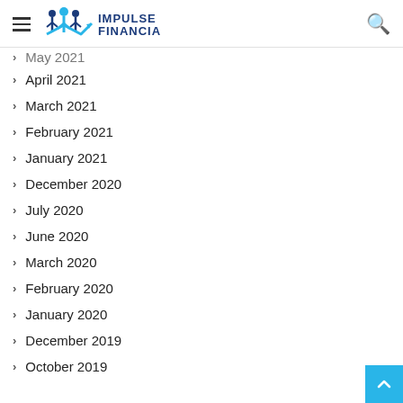Impulse Financial
May 2021
April 2021
March 2021
February 2021
January 2021
December 2020
July 2020
June 2020
March 2020
February 2020
January 2020
December 2019
October 2019